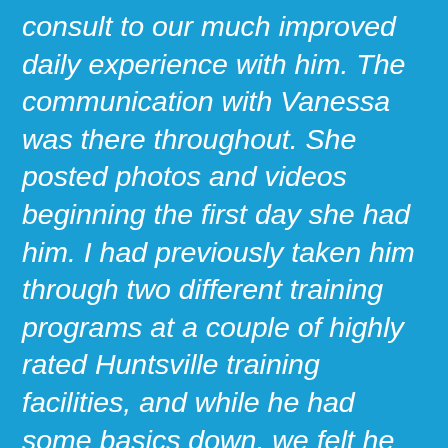consult to our much improved daily experience with him. The communication with Vanessa was there throughout. She posted photos and videos beginning the first day she had him. I had previously taken him through two different training programs at a couple of highly rated Huntsville training facilities, and while he had some basics down, we felt he would be much better off with more in depth training. Vanessa was able to do wonders with his recall, and helping him exist calmly in “place” inside our home. He is able to heel almost effortlessly in crowded public places and can calmly sit in “place” in public as well. He had some issues with barking excessively while in the fenced in area